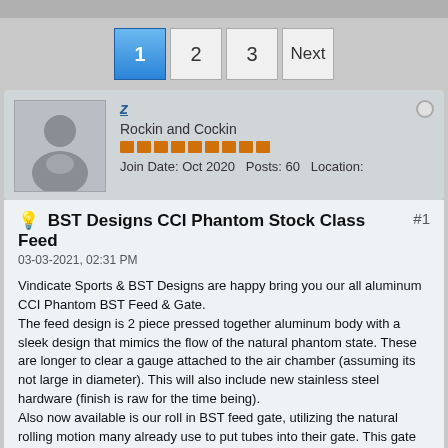1 2 3 Next
[Figure (photo): Generic user avatar silhouette in gray box]
z
Rockin and Cockin
Join Date: Oct 2020   Posts: 60   Location:
BST Designs CCI Phantom Stock Class Feed #1
03-03-2021, 02:31 PM
Vindicate Sports & BST Designs are happy bring you our all aluminum CCI Phantom BST Feed & Gate.
The feed design is 2 piece pressed together aluminum body with a sleek design that mimics the flow of the natural phantom state. These are longer to clear a gauge attached to the air chamber (assuming its not large in diameter). This will also include new stainless steel hardware (finish is raw for the time being).
Also now available is our roll in BST feed gate, utilizing the natural rolling motion many already use to put tubes into their gate. This gate uses a oring for paint retention, super easy to replace, likely found in your gear bag, and can be purchased at any local hardware store. (Gate also works on Phantom/CCM/Palmor factory foods).